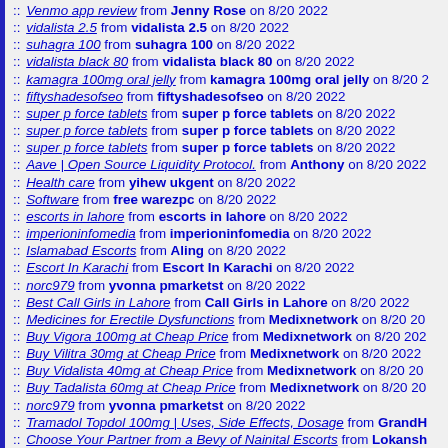:: Venmo app review from Jenny Rose on 8/20 2022
:: vidalista 2.5 from vidalista 2.5 on 8/20 2022
:: suhagra 100 from suhagra 100 on 8/20 2022
:: vidalista black 80 from vidalista black 80 on 8/20 2022
:: kamagra 100mg oral jelly from kamagra 100mg oral jelly on 8/20 2
:: fiftyshadesofseo from fiftyshadesofseo on 8/20 2022
:: super p force tablets from super p force tablets on 8/20 2022
:: super p force tablets from super p force tablets on 8/20 2022
:: super p force tablets from super p force tablets on 8/20 2022
:: Aave | Open Source Liquidity Protocol. from Anthony on 8/20 2022
:: Health care from yihew ukgent on 8/20 2022
:: Software from free warezpc on 8/20 2022
:: escorts in lahore from escorts in lahore on 8/20 2022
:: imperioninfomedia from imperioninfomedia on 8/20 2022
:: Islamabad Escorts from Aling on 8/20 2022
:: Escort In Karachi from Escort In Karachi on 8/20 2022
:: norc979 from yvonna pmarketst on 8/20 2022
:: Best Call Girls in Lahore from Call Girls in Lahore on 8/20 2022
:: Medicines for Erectile Dysfunctions from Medixnetwork on 8/20 20
:: Buy Vigora 100mg at Cheap Price from Medixnetwork on 8/20 202
:: Buy Vilitra 30mg at Cheap Price from Medixnetwork on 8/20 2022
:: Buy Vidalista 40mg at Cheap Price from Medixnetwork on 8/20 20
:: Buy Tadalista 60mg at Cheap Price from Medixnetwork on 8/20 20
:: norc979 from yvonna pmarketst on 8/20 2022
:: Tramadol Topdol 100mg | Uses, Side Effects, Dosage from GrandH
:: Choose Your Partner from a Bevy of Nainital Escorts from Lokansh
:: bulk ammunition from Bulks ammunition on 8/20 2022
:: mayiladuthurai from mayiladuthurai escort on 8/20 2022
:: Marketing from rafaelwimble23 on 8/19 2022
:: hot-desi-call-girl from hot-desi-call-girl on 8/19 2022